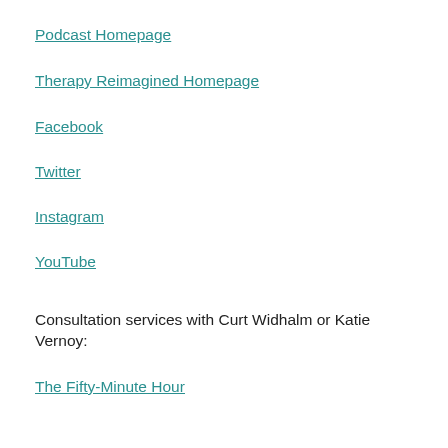Podcast Homepage
Therapy Reimagined Homepage
Facebook
Twitter
Instagram
YouTube
Consultation services with Curt Widhalm or Katie Vernoy:
The Fifty-Minute Hour